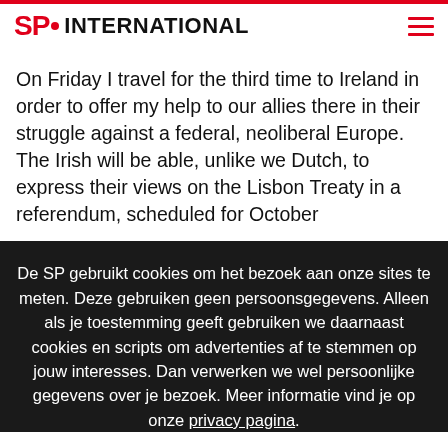SP. INTERNATIONAL
On Friday I travel for the third time to Ireland in order to offer my help to our allies there in their struggle against a federal, neoliberal Europe. The Irish will be able, unlike we Dutch, to express their views on the Lisbon Treaty in a referendum, scheduled for October
De SP gebruikt cookies om het bezoek aan onze sites te meten. Deze gebruiken geen persoonsgegevens. Alleen als je toestemming geeft gebruiken we daarnaast cookies en scripts om advertenties af te stemmen op jouw interesses. Dan verwerken we wel persoonlijke gegevens over je bezoek. Meer informatie vind je op onze privacy pagina.
ALLEEN FUNCTIONEEL
NIET AKKOORD
AKKOORD